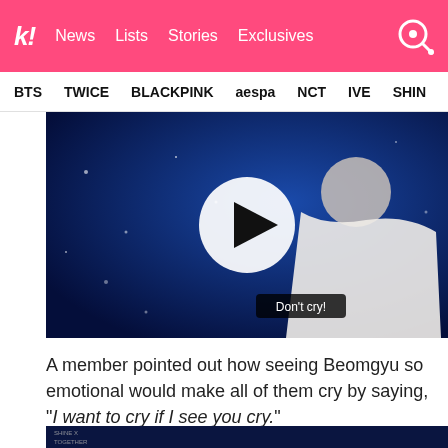k! News | Lists | Stories | Exclusives
BTS | TWICE | BLACKPINK | aespa | NCT | IVE | SHINee
[Figure (screenshot): Video thumbnail showing a person in white jacket against blue background with sparkles, large play button overlay, subtitle 'Don't cry!']
A member pointed out how seeing Beomgyu so emotional would make all of them cry by saying, "I want to cry if I see you cry."
[Figure (screenshot): Bottom portion of a dark blue video frame with 'SHINE X TOGETHER' text overlay]